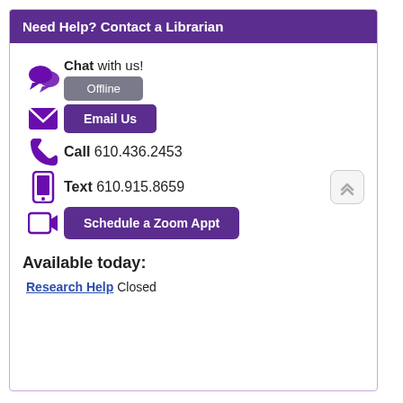Need Help? Contact a Librarian
Chat with us!
Offline
Email Us
Call 610.436.2453
Text 610.915.8659
Schedule a Zoom Appt
Available today:
Research Help Closed